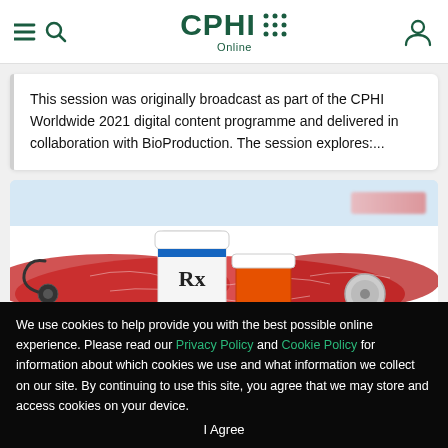CPHI Online
This session was originally broadcast as part of the CPHI Worldwide 2021 digital content programme and delivered in collaboration with BioProduction. The session explores:...
[Figure (photo): Photograph of prescription medicine bottles (labeled Rx) placed on a red map shape of China, with a stethoscope visible, against a light blue background.]
We use cookies to help provide you with the best possible online experience. Please read our Privacy Policy and Cookie Policy for information about which cookies we use and what information we collect on our site. By continuing to use this site, you agree that we may store and access cookies on your device.
I Agree